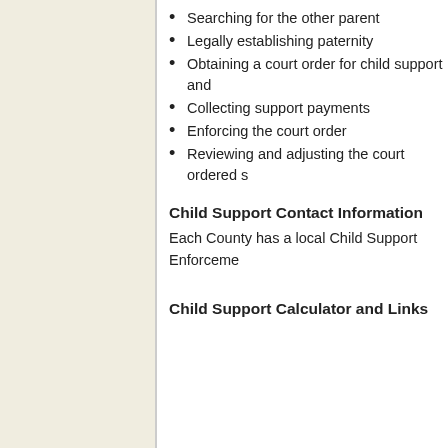Searching for the other parent
Legally establishing paternity
Obtaining a court order for child support and
Collecting support payments
Enforcing the court order
Reviewing and adjusting the court ordered s
Child Support Contact Information
Each County has a local Child Support Enforceme
Child Support Calculator and Links